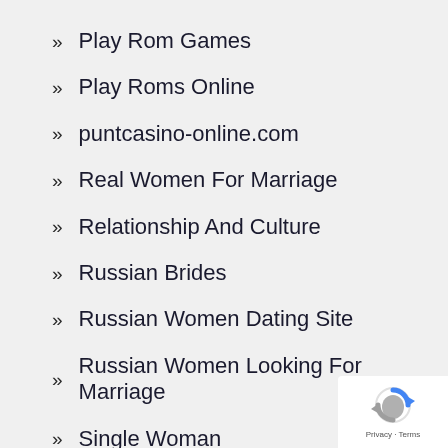Play Rom Games
Play Roms Online
puntcasino-online.com
Real Women For Marriage
Relationship And Culture
Russian Brides
Russian Women Dating Site
Russian Women Looking For Marriage
Single Woman
Single Women
Stop Rassism
[Figure (logo): Google reCAPTCHA badge with Privacy and Terms links]